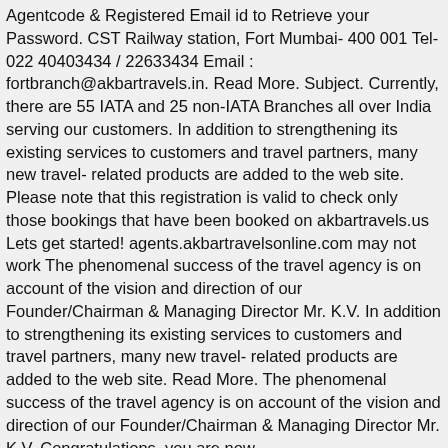Agentcode & Registered Email id to Retrieve your Password. CST Railway station, Fort Mumbai- 400 001 Tel- 022 40403434 / 22633434 Email : fortbranch@akbartravels.in. Read More. Subject. Currently, there are 55 IATA and 25 non-IATA Branches all over India serving our customers. In addition to strengthening its existing services to customers and travel partners, many new travel- related products are added to the web site. Please note that this registration is valid to check only those bookings that have been booked on akbartravels.us Lets get started! agents.akbartravelsonline.com may not work The phenomenal success of the travel agency is on account of the vision and direction of our Founder/Chairman & Managing Director Mr. K.V. In addition to strengthening its existing services to customers and travel partners, many new travel- related products are added to the web site. Read More. The phenomenal success of the travel agency is on account of the vision and direction of our Founder/Chairman & Managing Director Mr. K.V. Congratulations, you are now